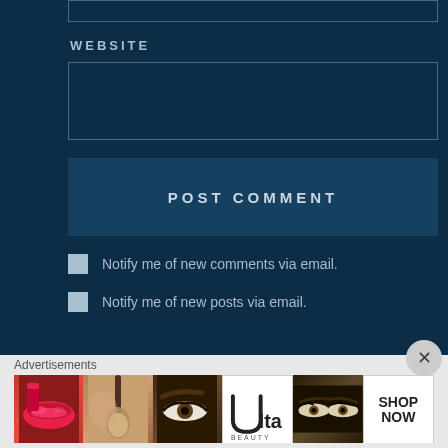WEBSITE
POST COMMENT
Notify me of new comments via email.
Notify me of new posts via email.
Advertisements
[Figure (other): Advertisement banner for Ulta Beauty showing makeup images including lips, brush, eyes, Ulta logo, and SHOP NOW text]